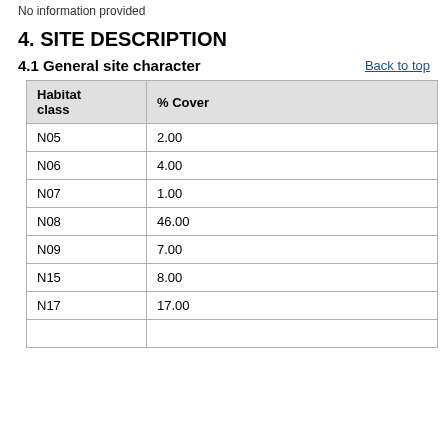No information provided
4. SITE DESCRIPTION
4.1 General site character
| Habitat class | % Cover |
| --- | --- |
| N05 | 2.00 |
| N06 | 4.00 |
| N07 | 1.00 |
| N08 | 46.00 |
| N09 | 7.00 |
| N15 | 8.00 |
| N17 | 17.00 |